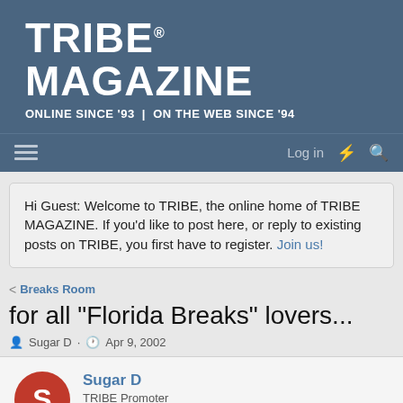TRIBE® MAGAZINE — ONLINE SINCE '93 | ON THE WEB SINCE '94
Hi Guest: Welcome to TRIBE, the online home of TRIBE MAGAZINE. If you'd like to post here, or reply to existing posts on TRIBE, you first have to register. Join us!
Breaks Room
for all "Florida Breaks" lovers...
Sugar D · Apr 9, 2002
Sugar D — TRIBE Promoter
Apr 9, 2002  #1